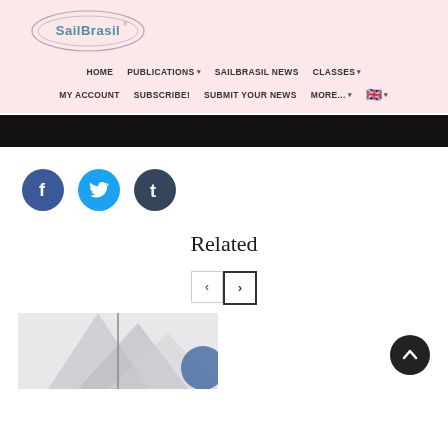[Figure (logo): SailBrasil logo: oval outline with text 'SailBrasil' inside, blue and grey tones]
HOME   PUBLICATIONS ▾   SAILBRASIL NEWS   CLASSES ▾   MY ACCOUNT   SUBSCRIBE!   SUBMIT YOUR NEWS   MORE... ▾   🇬🇧 ▾
[Figure (photo): Black banner image (fully black/dark, possibly a header hero image)]
[Figure (infographic): Three social media share buttons: Facebook (dark blue circle with 'f'), Twitter (light blue circle with bird/t icon), Tumblr (dark slate circle with 't')]
Related
[Figure (infographic): Previous/Next navigation arrows: left arrow button (inactive) and right arrow button (active/bold border)]
[Figure (photo): Partial photo of sailing boat sails in grey tones, cropped at bottom of page]